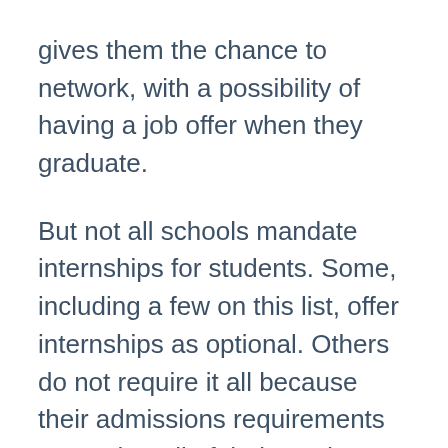gives them the chance to network, with a possibility of having a job offer when they graduate.
But not all schools mandate internships for students. Some, including a few on this list, offer internships as optional. Others do not require it all because their admissions requirements mean that all of their graduate students already have work experience in the field.
Public administration continues to be a large part of everyday life, even if most in the field don't realize it. Without the help of these professionals, government services would not